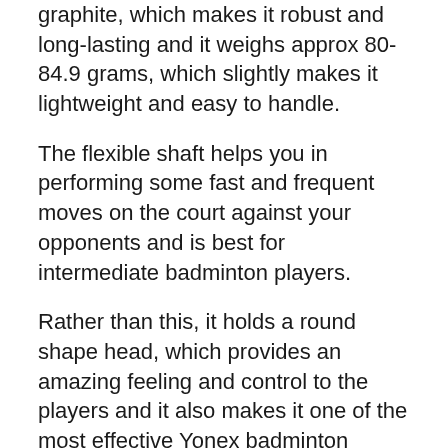graphite, which makes it robust and long-lasting and it weighs approx 80-84.9 grams, which slightly makes it lightweight and easy to handle.
The flexible shaft helps you in performing some fast and frequent moves on the court against your opponents and is best for intermediate badminton players.
Rather than this, it holds a round shape head, which provides an amazing feeling and control to the players and it also makes it one of the most effective Yonex badminton rackets under 5000 here in this list.
Features